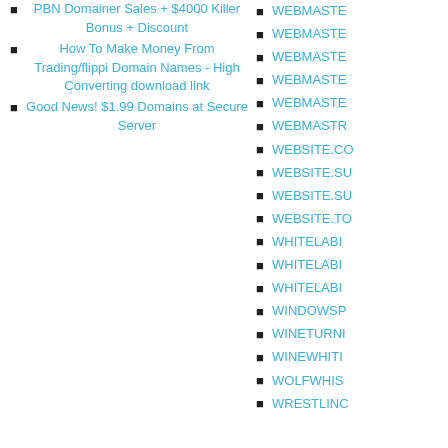PBN Domainer Sales + $4000 Killer Bonus + Discount
How To Make Money From Trading/flipping Domain Names - High Converting download link
Good News! $1.99 Domains at Secure Server
WEBMASTE...
WEBMASTE...
WEBMASTE...
WEBMASTE...
WEBMASTE...
WEBMASTR...
WEBSITE.CO...
WEBSITE.SU...
WEBSITE.SU...
WEBSITE.TO...
WHITELAB...
WHITELAB...
WHITELAB...
WINDOWSP...
WINETURN...
WINEWHI...
WOLFWHIS...
WRESTLINC...